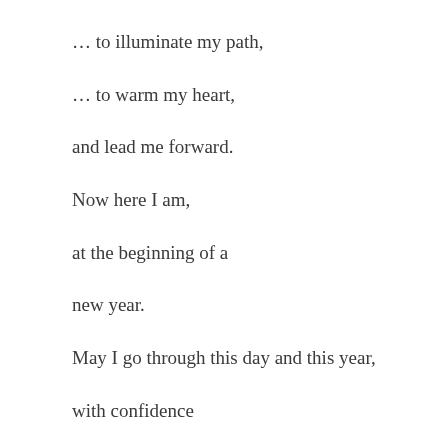… to illuminate my path,
… to warm my heart,
and lead me forward.
Now here I am,
at the beginning of a
new year.
May I go through this day and this year,
with confidence
in your everlasting, unconditional